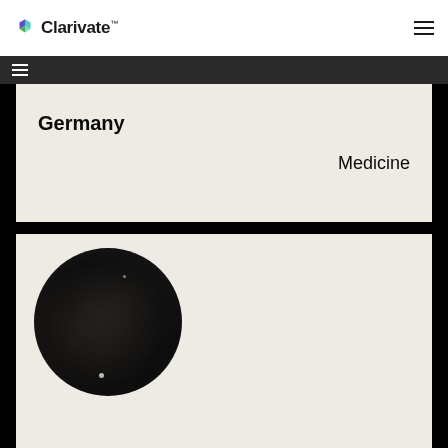Clarivate™
Germany
Medicine
[Figure (photo): Circular microscopy image showing dark tissue or biological sample with scattered bright spots on a beige background]